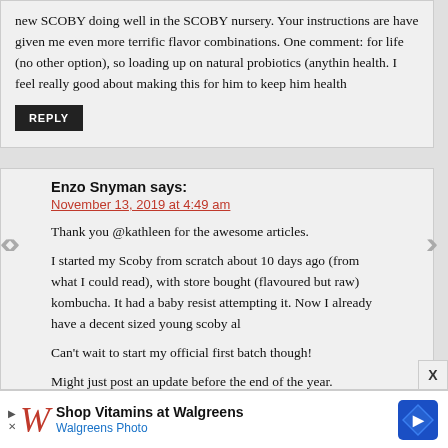new SCOBY doing well in the SCOBY nursery. Your instructions are have given me even more terrific flavor combinations. One comment: for life (no other option), so loading up on natural probiotics (anythin health. I feel really good about making this for him to keep him health
REPLY
Enzo Snyman says:
November 13, 2019 at 4:49 am
Thank you @kathleen for the awesome articles.
I started my Scoby from scratch about 10 days ago (from what I could read), with store bought (flavoured but raw) kombucha. It had a baby resist attempting it. Now I already have a decent sized young scoby al
Can't wait to start my official first batch though!
Might just post an update before the end of the year.
[Figure (infographic): Walgreens advertisement banner: Shop Vitamins at Walgreens, Walgreens Photo, with Walgreens logo]